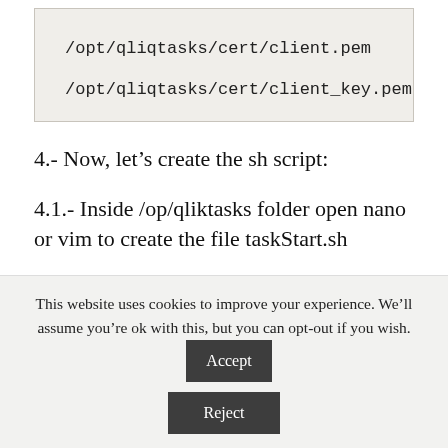/opt/qliqtasks/cert/client.pem
/opt/qliqtasks/cert/client_key.pem
4.- Now, let's create the sh script:
4.1.- Inside /op/qliktasks folder open nano or vim to create the file taskStart.sh
This website uses cookies to improve your experience. We'll assume you're ok with this, but you can opt-out if you wish.